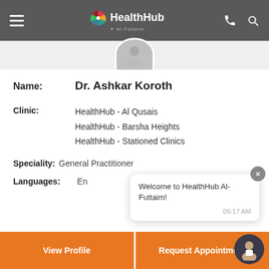HealthHub by Al-Futtaim
[Figure (photo): Partial doctor profile photo circle at top center]
Name: Dr. Ashkar Koroth
Clinic: HealthHub - Al Qusais | HealthHub - Barsha Heights | HealthHub - Stationed Clinics
Speciality: General Practitioner
Languages: En
Welcome to HealthHub Al-Futtaim!
05:17 AM
View Profile
Request Appointment